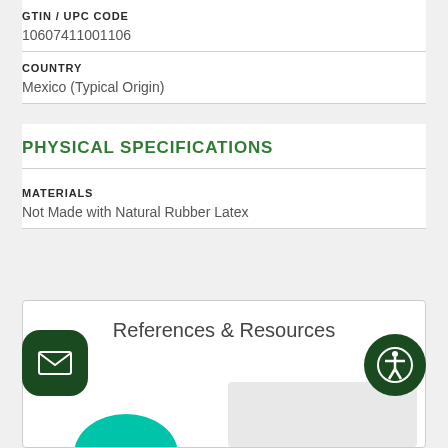GTIN / UPC CODE
10607411001106
COUNTRY
Mexico (Typical Origin)
PHYSICAL SPECIFICATIONS
MATERIALS
Not Made with Natural Rubber Latex
References & Resources